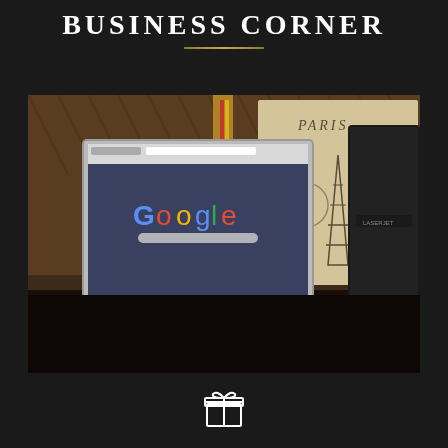BUSINESS CORNER
[Figure (photo): A business corner desk setup with a computer monitor displaying Google homepage, a keyboard, mouse, and printer on a dark desk, with a Paris/Eiffel Tower print in the background]
[Figure (illustration): Small gift/present icon at the bottom center of the page]